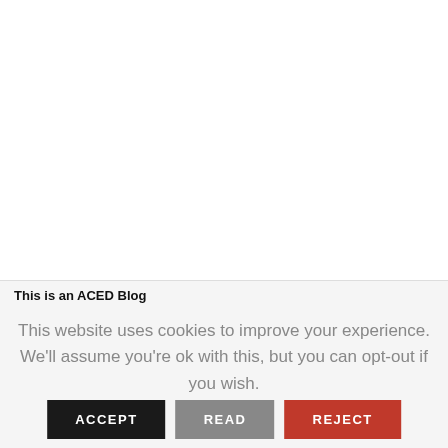[Figure (other): White blank area occupying the upper portion of the page]
This is an ACED Blog
This website uses cookies to improve your experience. We'll assume you're ok with this, but you can opt-out if you wish.
ACCEPT   READ   REJECT